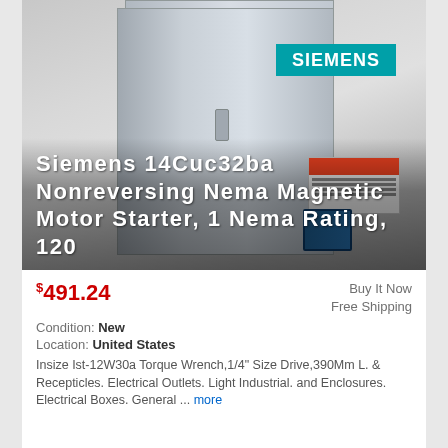[Figure (photo): Siemens 14CUC32BA Nonreversing Nema Magnetic Motor Starter product photo — grey metal enclosure box with teal Siemens logo label, warning sticker, and blue push button, with product title overlaid in white text.]
Siemens 14Cuc32ba Nonreversing Nema Magnetic Motor Starter, 1 Nema Rating, 120
$491.24
Buy It Now
Free Shipping
Condition: New
Location: United States
Insize Ist-12W30a Torque Wrench,1/4" Size Drive,390Mm L. & Recepticles. Electrical Outlets. Light Industrial. and Enclosures. Electrical Boxes. General ... more